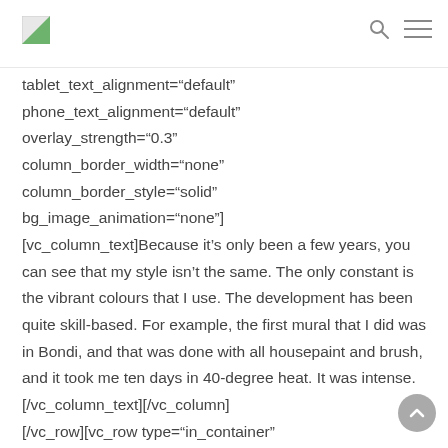[logo] [search icon] [menu icon]
tablet_text_alignment="default"
phone_text_alignment="default"
overlay_strength="0.3"
column_border_width="none"
column_border_style="solid"
bg_image_animation="none"]
[vc_column_text]Because it’s only been a few years, you can see that my style isn’t the same. The only constant is the vibrant colours that I use. The development has been quite skill-based. For example, the first mural that I did was in Bondi, and that was done with all housepaint and brush, and it took me ten days in 40-degree heat. It was intense.[/vc_column_text][/vc_column]
[/vc_row][vc_row type="in_container"